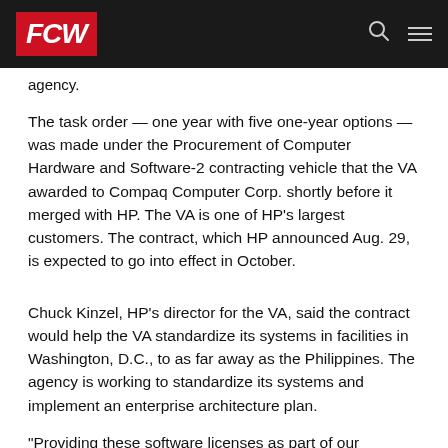FCW
agency.
The task order — one year with five one-year options — was made under the Procurement of Computer Hardware and Software-2 contracting vehicle that the VA awarded to Compaq Computer Corp. shortly before it merged with HP. The VA is one of HP's largest customers. The contract, which HP announced Aug. 29, is expected to go into effect in October.
Chuck Kinzel, HP's director for the VA, said the contract would help the VA standardize its systems in facilities in Washington, D.C., to as far away as the Philippines. The agency is working to standardize its systems and implement an enterprise architecture plan.
"Providing these software licenses as part of our integrated approach to working with VA ensures the best end-to-end solution